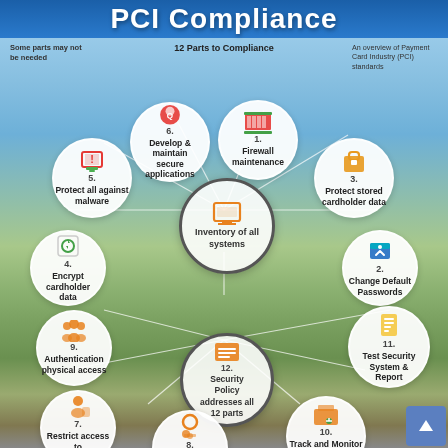PCI Compliance
Some parts may not be needed
12 Parts to Compliance
An overview of Payment Card Industry (PCI) standards
[Figure (infographic): Circular infographic showing 12 parts to PCI Compliance centered around 'Inventory of all systems'. Numbered circles: 1. Firewall maintenance, 2. Change Default Passwords, 3. Protect stored cardholder data, 4. Encrypt cardholder data, 5. Protect all against malware, 6. Develop & maintain secure applications, 7. Restrict access to cardholder data, 8. Identify - Authenticate access to system, 9. Authentication physical access, 10. Track and Monitor access to network (logsystem), 11. Test Security System & Report, 12. Security Policy addresses all 12 parts. Background is aerial landscape photo.]